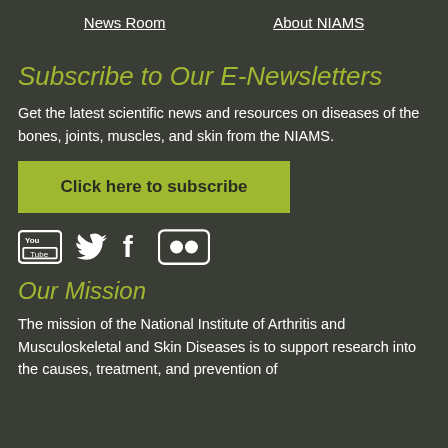News Room   About NIAMS
Subscribe to Our E-Newsletters
Get the latest scientific news and resources on diseases of the bones, joints, muscles, and skin from the NIAMS.
Click here to subscribe
[Figure (infographic): Social media icons: YouTube, Twitter, Facebook, Flickr]
Our Mission
The mission of the National Institute of Arthritis and Musculoskeletal and Skin Diseases is to support research into the causes, treatment, and prevention of